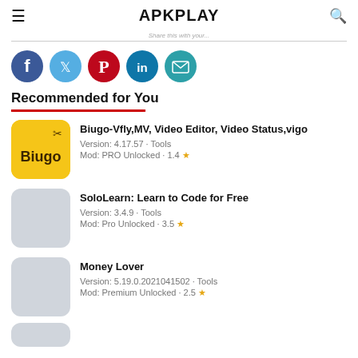APKPLAY
Share this with your...
[Figure (other): Social sharing icons: Facebook, Twitter, Pinterest, LinkedIn, Email]
Recommended for You
[Figure (other): Biugo app icon - yellow background with Biugo logo]
Biugo-Vfly,MV, Video Editor, Video Status,vigo
Version: 4.17.57 · Tools
Mod: PRO Unlocked · 1.4 ★
[Figure (other): SoloLearn app icon placeholder - light gray]
SoloLearn: Learn to Code for Free
Version: 3.4.9 · Tools
Mod: Pro Unlocked · 3.5 ★
[Figure (other): Money Lover app icon placeholder - light gray]
Money Lover
Version: 5.19.0.2021041502 · Tools
Mod: Premium Unlocked · 2.5 ★